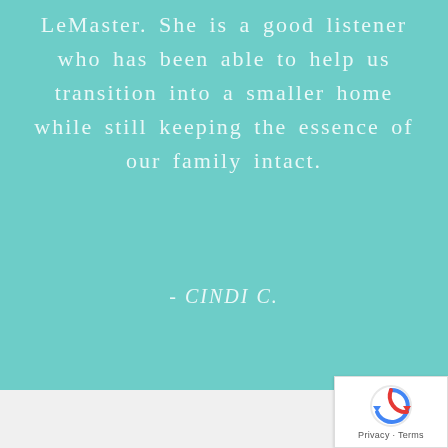LeMaster. She is a good listener who has been able to help us transition into a smaller home while still keeping the essence of our family intact.
- CINDI C.
[Figure (logo): reCAPTCHA badge with spinning arrow logo and Privacy - Terms text]